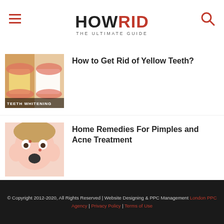HOWRID THE ULTIMATE GUIDE
[Figure (photo): Thumbnail of teeth whitening - before and after comparison showing yellow vs white teeth with label TEETH WHITENING]
How to Get Rid of Yellow Teeth?
[Figure (photo): Thumbnail of woman touching her face with surprised expression about pimples and acne]
Home Remedies For Pimples and Acne Treatment
[Figure (photo): Thumbnail of woman in red shirt holding her throat in pain for cricopharyngeal spasm]
Home Remedies for Cricopharyngeal Spasm Treatment
© Copyright 2012-2020, All Rights Reserved | Website Designing & PPC Management London PPC Agency | Privacy Policy | Terms of Use